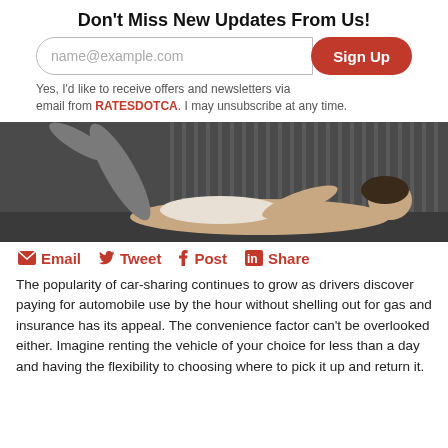Don't Miss New Updates From Us!
Yes, I'd like to receive offers and newsletters via email from RATESDOTCA. I may unsubscribe at any time.
[Figure (photo): Woman doing yoga or stretching exercise, lying on floor with leg raised, in a studio with slatted background]
Email
Tweet
Post
Share
The popularity of car-sharing continues to grow as drivers discover paying for automobile use by the hour without shelling out for gas and insurance has its appeal. The convenience factor can't be overlooked either. Imagine renting the vehicle of your choice for less than a day and having the flexibility to choosing where to pick it up and return it.